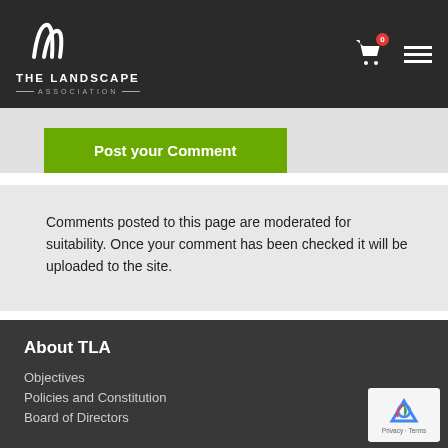[Figure (logo): The Landscape Association logo with stylized white icon and text on dark background]
Post your Comment
Comments posted to this page are moderated for suitability. Once your comment has been checked it will be uploaded to the site.
About TLA
Objectives
Policies and Constitution
Board of Directors